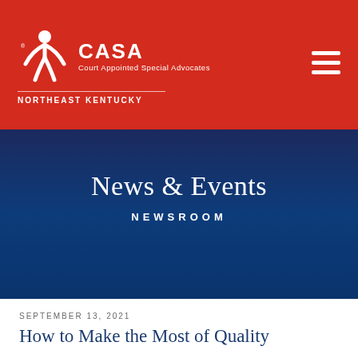[Figure (logo): CASA Court Appointed Special Advocates Northeast Kentucky logo with white figure person icon on red background]
News & Events
NEWSROOM
SEPTEMBER 13, 2021
How to Make the Most of Quality